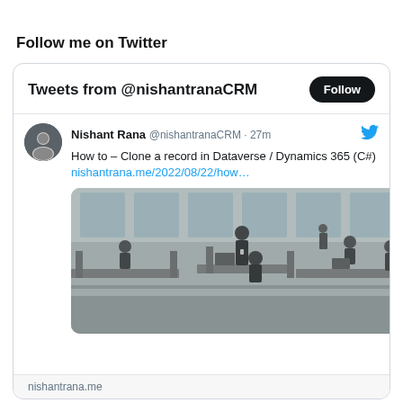Follow me on Twitter
Tweets from @nishantranaCRM
Nishant Rana @nishantranaCRM · 27m
How to – Clone a record in Dataverse / Dynamics 365 (C#)
nishantrana.me/2022/08/22/how…
[Figure (photo): Black and white photo of people in a modern open-plan office with large windows, several people standing and sitting at desks]
nishantrana.me